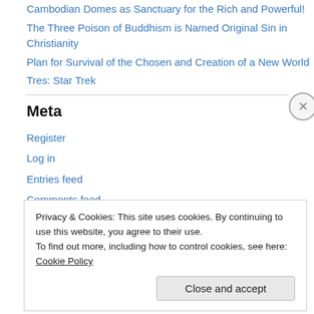Cambodian Domes as Sanctuary for the Rich and Powerful!
The Three Poison of Buddhism is Named Original Sin in Christianity
Plan for Survival of the Chosen and Creation of a New World
Tres: Star Trek
Meta
Register
Log in
Entries feed
Comments feed
WordPress.com
Privacy & Cookies: This site uses cookies. By continuing to use this website, you agree to their use.
To find out more, including how to control cookies, see here: Cookie Policy
Close and accept